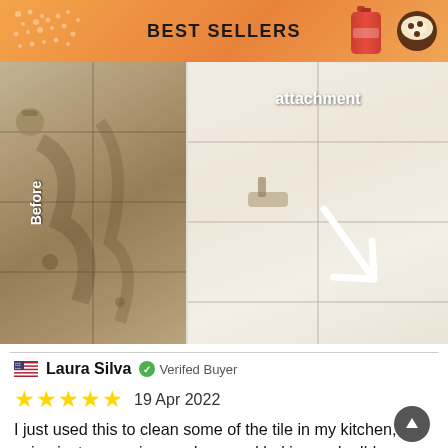BEST SELLERS
[Figure (photo): Before and after cleaning photos of a bathtub/tile surface. Left image shows dirty tile before cleaning; right image shows cleaned tile after with 'attachment' label and a white arrow pointing down.]
Laura Silva   Verified Buyer
★★★★★  19 Apr 2022
I just used this to clean some of the tile in my kitchen, using just some vinegar dawn and baking soda. I'd normally use bleach and a toothbrush to get the same result, but with much more effort and sweat! This product is very easy to use! And makes cleaning more fun. It takes just a few seconds per tile. I'm a petite woman. The only difficult part is pressing on the button of the drill for so long, and you will need to guide drill with both hands. See the pic for the before and afte pic shows left side after cleaning with this product and right